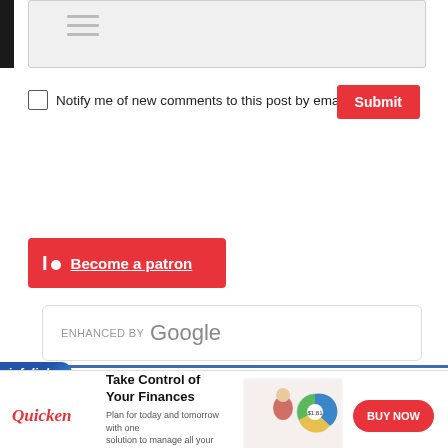[Figure (screenshot): Textarea input box (grayed out, partially visible at top of page)]
Notify me of new comments to this post by email
[Figure (screenshot): Submit button (red) for comment form]
[Figure (screenshot): Patreon banner button: circle icon with 'I' and dot, text 'Become a patron' on red background]
[Figure (screenshot): Google enhanced search box with text 'ENHANCED BY Google']
[Figure (screenshot): Infolinks advertisement bar at bottom of page showing Quicken ad: 'Take Control of Your Finances' with BUY NOW button]